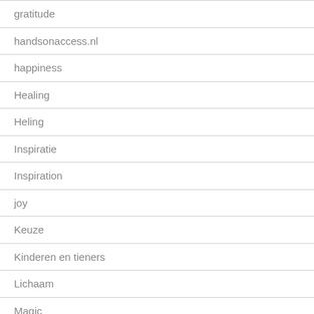gratitude
handsonaccess.nl
happiness
Healing
Heling
Inspiratie
Inspiration
joy
Keuze
Kinderen en tieners
Lichaam
Magic